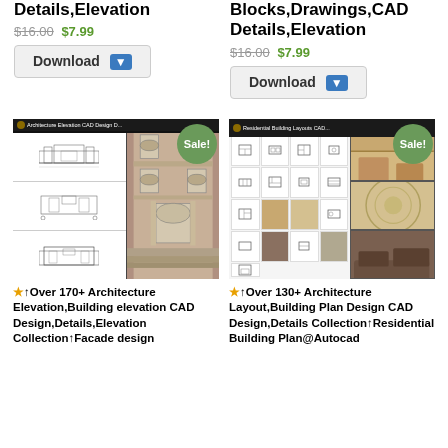Details,Elevation
$16.00 $7.99
Blocks,Drawings,CAD Details,Elevation
$16.00 $7.99
Download
Download
[Figure (screenshot): Architecture Elevation CAD Design product image with CAD drawings and building photo. Sale badge shown.]
[Figure (screenshot): Residential Building Layouts CAD product image with layout blocks and interior photos. Sale badge shown.]
★↑Over 170+ Architecture Elevation,Building elevation CAD Design,Details,Elevation Collection↑Facade design
★↑Over 130+ Architecture Layout,Building Plan Design CAD Design,Details Collection↑Residential Building Plan@Autocad